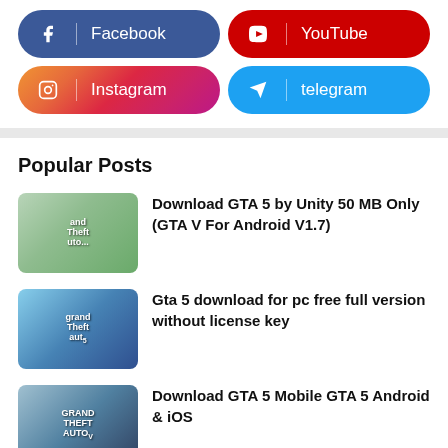[Figure (infographic): Social media buttons: Facebook (dark blue), YouTube (red), Instagram (gradient pink/orange), Telegram (blue)]
Popular Posts
[Figure (photo): GTA 5 Unity app on phone screenshot thumbnail]
Download GTA 5 by Unity 50 MB Only (GTA V For Android V1.7)
[Figure (photo): Grand Theft Auto 5 cover art thumbnail]
Gta 5 download for pc free full version without license key
[Figure (photo): Grand Theft Auto V mobile thumbnail]
Download GTA 5 Mobile GTA 5 Android & iOS
[Figure (photo): GTA 3 red cover art thumbnail]
GTA 3 Android highly compressed Game (APK + Data) Only 4MB